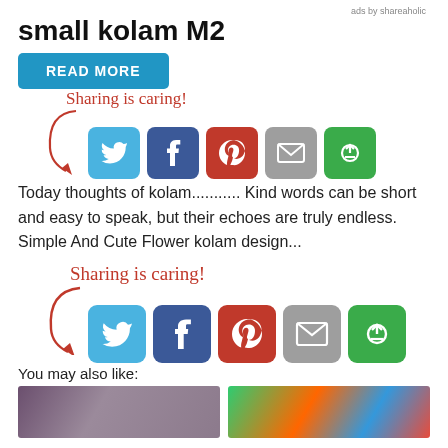ads by shareaholic
small kolam M2
[Figure (infographic): READ MORE button and Sharing is caring! social share row with Twitter, Facebook, Pinterest, Email, and a share icon on green background]
Today thoughts of kolam........... Kind words can be short and easy to speak, but their echoes are truly endless. Simple And Cute Flower kolam design...
[Figure (infographic): Sharing is caring! social share row with Twitter, Facebook, Pinterest, Email, and a share icon on green background]
You may also like:
[Figure (photo): Two thumbnail images side by side at bottom of page]